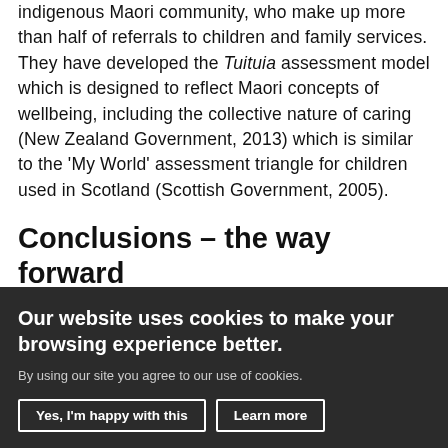indigenous Maori community, who make up more than half of referrals to children and family services. They have developed the Tuituia assessment model which is designed to reflect Maori concepts of wellbeing, including the collective nature of caring (New Zealand Government, 2013) which is similar to the 'My World' assessment triangle for children used in Scotland (Scottish Government, 2005).
Conclusions – the way forward
Initiatives including those flowing from the
Our website uses cookies to make your browsing experience better.
By using our site you agree to our use of cookies.
Yes, I'm happy with this
Learn more